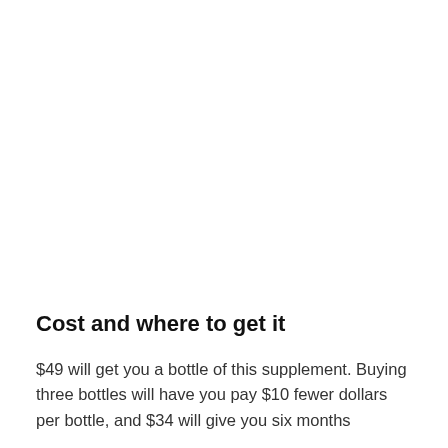Cost and where to get it
$49 will get you a bottle of this supplement. Buying three bottles will have you pay $10 fewer dollars per bottle, and $34 will give you six months